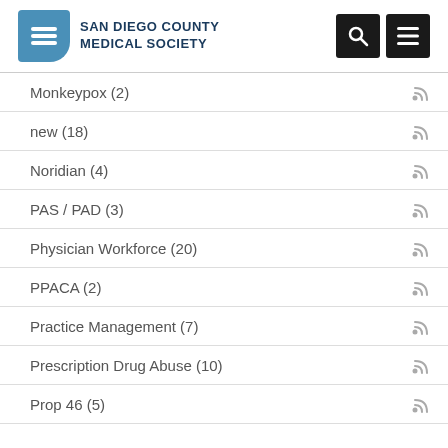[Figure (logo): San Diego County Medical Society logo with blue icon and bold text]
Monkeypox (2)
new (18)
Noridian (4)
PAS / PAD (3)
Physician Workforce (20)
PPACA (2)
Practice Management (7)
Prescription Drug Abuse (10)
Prop 46 (5)